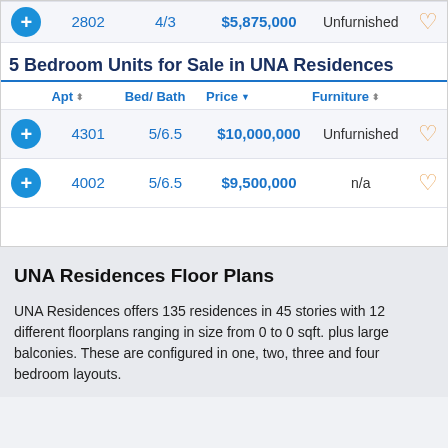|  | Apt | Bed/Bath | Price | Furniture |  |
| --- | --- | --- | --- | --- | --- |
|  | 2802 | 4/3 | $5,875,000 | Unfurnished | ♡ |
5 Bedroom Units for Sale in UNA Residences
|  | Apt | Bed/Bath | Price | Furniture |  |
| --- | --- | --- | --- | --- | --- |
|  | 4301 | 5/6.5 | $10,000,000 | Unfurnished | ♡ |
|  | 4002 | 5/6.5 | $9,500,000 | n/a | ♡ |
UNA Residences Floor Plans
UNA Residences offers 135 residences in 45 stories with 12 different floorplans ranging in size from 0 to 0 sqft. plus large balconies. These are configured in one, two, three and four bedroom layouts.